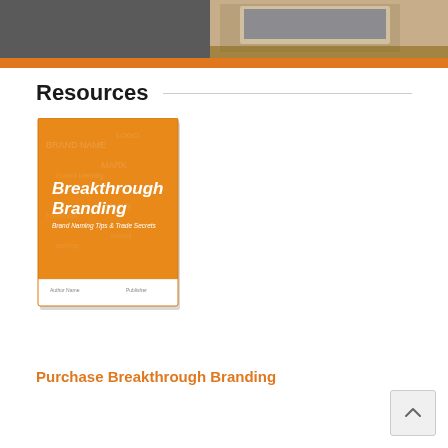[Figure (illustration): Header banner image split into two sections: left half dark gray background, right half showing a laptop on a wooden desk with a pen/pencil. An orange horizontal stripe runs across the bottom of the banner.]
Resources
[Figure (illustration): Book cover of 'Breakthrough Branding: Brand Naming Tips & Trade Secrets' with an orange background and white bold title text, showing a book with white spine at the bottom.]
Purchase Breakthrough Branding